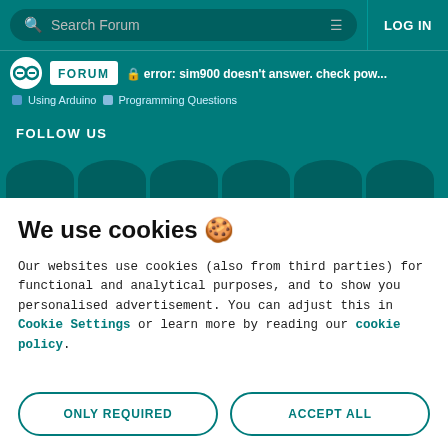Search Forum | LOG IN
error: sim900 doesn't answer. check pow... | Using Arduino | Programming Questions
FOLLOW US
We use cookies 🍪
Our websites use cookies (also from third parties) for functional and analytical purposes, and to show you personalised advertisement. You can adjust this in Cookie Settings or learn more by reading our cookie policy.
ONLY REQUIRED
ACCEPT ALL